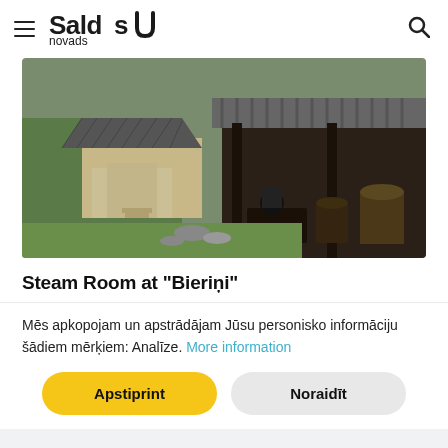Saldus novads
[Figure (photo): Photograph of a traditional Latvian steam bath (pirts) building with corrugated metal roof, wooden posts, old barrels and equipment under an open shelter, with a house and garden visible in the background.]
Steam Room at “Bieriņi”
Mēs apkopojam un apstrādājam Jūsu personisko informāciju šādiem mērķiem: Analīze. More information
Apstiprint | Noraidīt